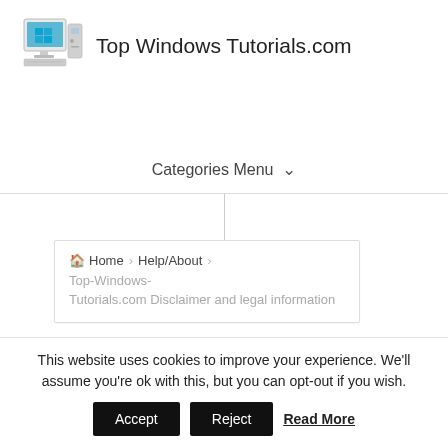[Figure (logo): Top Windows Tutorials logo: monitor with Windows logo and desktop tower]
Top Windows Tutorials.com
Categories Menu ∨
Home > Help/About > Top-Windows-Tutorials.com Disclaimer and legal information
This website uses cookies to improve your experience. We'll assume you're ok with this, but you can opt-out if you wish.
Accept   Reject   Read More